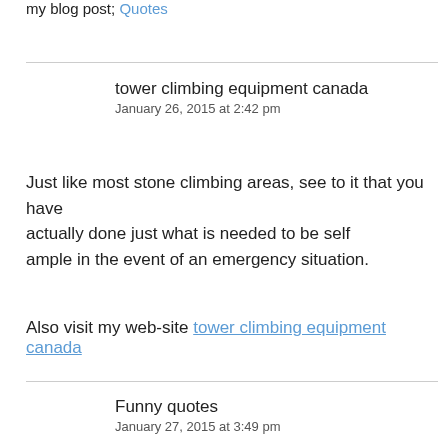my blog post; Quotes
tower climbing equipment canada
January 26, 2015 at 2:42 pm
Just like most stone climbing areas, see to it that you have actually done just what is needed to be self ample in the event of an emergency situation.
Also visit my web-site tower climbing equipment canada
Funny quotes
January 27, 2015 at 3:49 pm